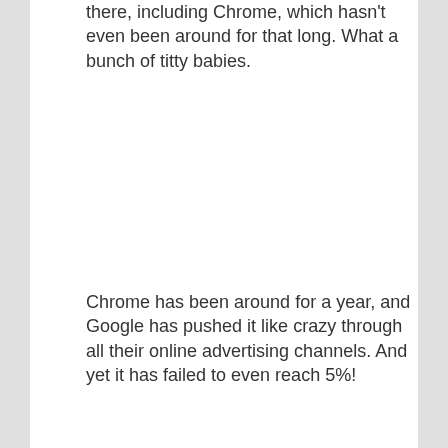there, including Chrome, which hasn't even been around for that long. What a bunch of titty babies.
Chrome has been around for a year, and Google has pushed it like crazy through all their online advertising channels. And yet it has failed to even reach 5%!
Also, if Opera are getting their asses handed to them, how come their user base grew by 65% in the last year, and now have 40-50 million users? And how come Opera is the dominant mobile browser?